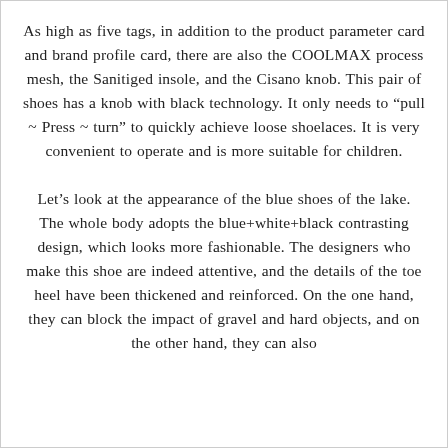As high as five tags, in addition to the product parameter card and brand profile card, there are also the COOLMAX process mesh, the Sanitiged insole, and the Cisano knob. This pair of shoes has a knob with black technology. It only needs to “pull ~ Press ~ turn” to quickly achieve loose shoelaces. It is very convenient to operate and is more suitable for children. Let’s look at the appearance of the blue shoes of the lake. The whole body adopts the blue+white+black contrasting design, which looks more fashionable. The designers who make this shoe are indeed attentive, and the details of the toe heel have been thickened and reinforced. On the one hand, they can block the impact of gravel and hard objects, and on the other hand, they can also